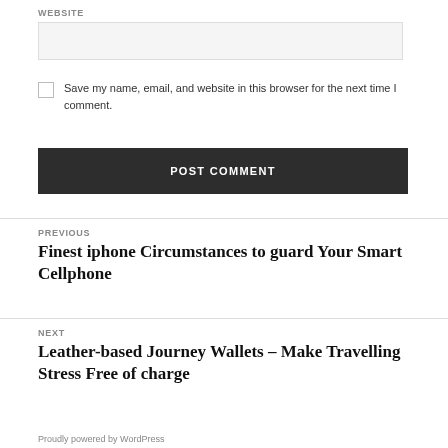WEBSITE
Save my name, email, and website in this browser for the next time I comment.
POST COMMENT
PREVIOUS
Finest iphone Circumstances to guard Your Smart Cellphone
NEXT
Leather-based Journey Wallets – Make Travelling Stress Free of charge
Proudly powered by WordPress